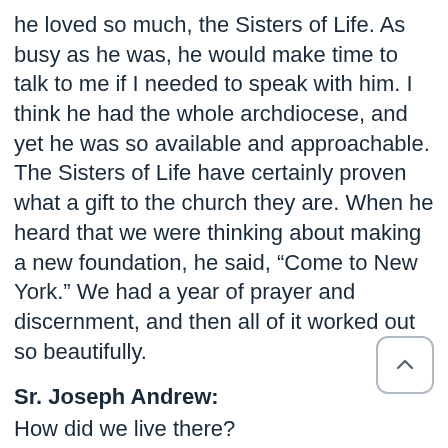he loved so much, the Sisters of Life. As busy as he was, he would make time to talk to me if I needed to speak with him. I think he had the whole archdiocese, and yet he was so available and approachable. The Sisters of Life have certainly proven what a gift to the church they are. When he heard that we were thinking about making a new foundation, he said, “Come to New York.” We had a year of prayer and discernment, and then all of it worked out so beautifully.
Sr. Joseph Andrew:
How did we live there?